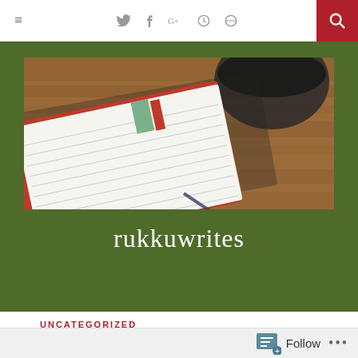≡  𝕏  f  G+  ⊙  ⊕  🔍
[Figure (photo): Top-down photo of a lined notebook with a red cover and green bookmark ribbon, with a dark coffee cup partially visible in the upper right, on a wooden surface. The blog header image for rukkuwrites.]
rukkuwrites
UNCATEGORIZED
Revisiting taboos..
Follow  ...